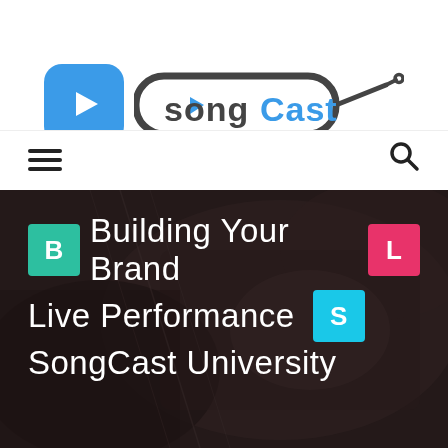[Figure (logo): SongCast logo with blue play button icon and stylized text 'songCast' with headphone jack cable graphic]
[Figure (infographic): Navigation bar with hamburger menu icon on left and search magnifying glass icon on right]
[Figure (photo): Dark blurred background image of music equipment (guitar/recording gear)]
Building Your Brand
Live Performance
SongCast University